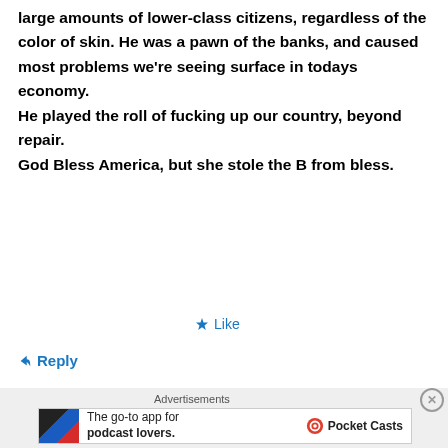large amounts of lower-class citizens, regardless of the color of skin. He was a pawn of the banks, and caused most problems we're seeing surface in todays economy.
He played the roll of fucking up our country, beyond repair.
God Bless America, but she stole the B from bless.
★ Like
↳ Reply
Advertisements
The go-to app for podcast lovers. Pocket Casts